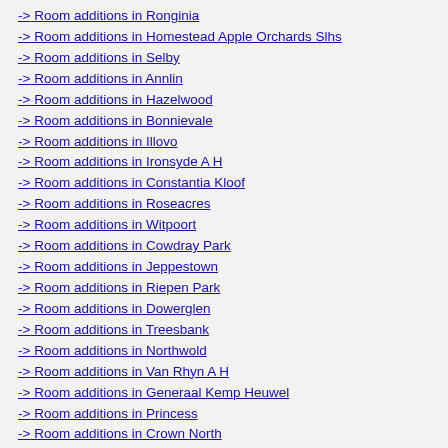-> Room additions in Ronginia
-> Room additions in Homestead Apple Orchards Slhs
-> Room additions in Selby
-> Room additions in Annlin
-> Room additions in Hazelwood
-> Room additions in Bonnievale
-> Room additions in Illovo
-> Room additions in Ironsyde A H
-> Room additions in Constantia Kloof
-> Room additions in Roseacres
-> Room additions in Witpoort
-> Room additions in Cowdray Park
-> Room additions in Jeppestown
-> Room additions in Riepen Park
-> Room additions in Dowerglen
-> Room additions in Treesbank
-> Room additions in Northwold
-> Room additions in Van Rhyn A H
-> Room additions in Generaal Kemp Heuwel
-> Room additions in Princess
-> Room additions in Crown North
-> Room additions in Boatlake Village